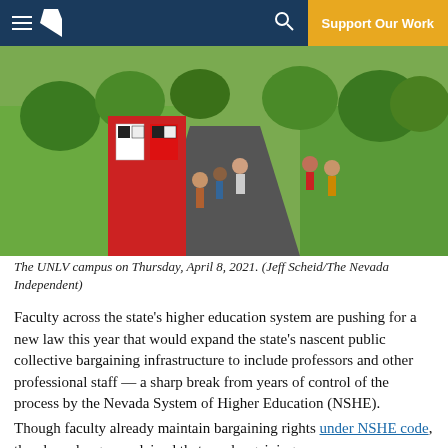The Nevada Independent — Support Our Work
[Figure (photo): Students walking on the UNLV campus path on Thursday, April 8, 2021, with a red campus emergency/safety kiosk in the foreground and green trees in the background.]
The UNLV campus on Thursday, April 8, 2021. (Jeff Scheid/The Nevada Independent)
Faculty across the state's higher education system are pushing for a new law this year that would expand the state's nascent public collective bargaining infrastructure to include professors and other professional staff — a sharp break from years of control of the process by the Nevada System of Higher Education (NSHE).
Though faculty already maintain bargaining rights under NSHE code, they have long complained that any bargaining